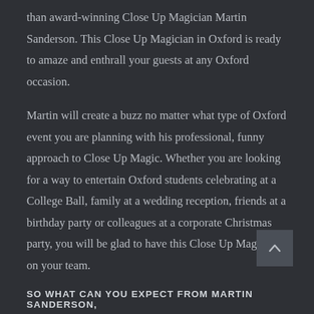than award-winning Close Up Magician Martin Sanderson. This Close Up Magician in Oxford is ready to amaze and enthrall your guests at any Oxford occasion.
Martin will create a buzz no matter what type of Oxford event you are planning with his professional, funny approach to Close Up Magic. Whether you are looking for a way to entertain Oxford students celebrating at a College Ball, family at a wedding reception, friends at a birthday party or colleagues at a corporate Christmas party, you will be glad to have this Close Up Magician on your team.
SO WHAT CAN YOU EXPECT FROM MARTIN SANDERSON,